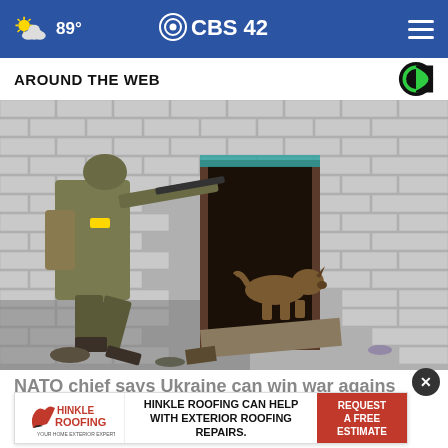89° CBS42
AROUND THE WEB
[Figure (photo): A soldier in military gear aiming a rifle approaches a damaged brick building doorway where a German Shepherd dog is entering; debris on the ground.]
NATO chief says Ukraine can win war against Rus...
[Figure (other): Advertisement banner: Hinkle Roofing - HINKLE ROOFING CAN HELP WITH EXTERIOR ROOFING REPAIRS. REQUEST A FREE ESTIMATE]